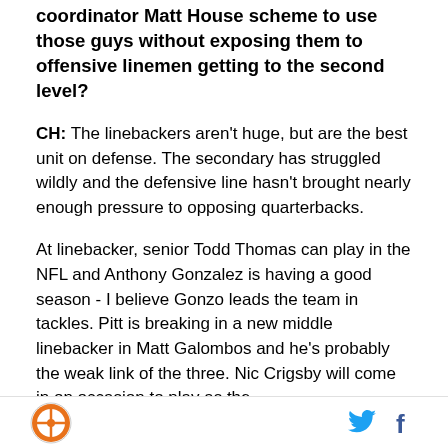coordinator Matt House scheme to use those guys without exposing them to offensive linemen getting to the second level?
CH: The linebackers aren't huge, but are the best unit on defense. The secondary has struggled wildly and the defensive line hasn't brought nearly enough pressure to opposing quarterbacks.
At linebacker, senior Todd Thomas can play in the NFL and Anthony Gonzalez is having a good season - I believe Gonzo leads the team in tackles. Pitt is breaking in a new middle linebacker in Matt Galombos and he's probably the weak link of the three. Nic Crigsby will come in on occasion to play as the